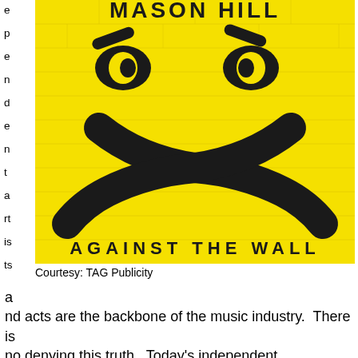e p e n d e n t a rt is ts
[Figure (photo): Album cover for 'Mason Hill - Against The Wall' featuring a yellow background with black graffiti-style face with crossed arms on a brick wall texture. Text at top reads 'MASON HILL' and at bottom 'AGAINST THE WALL'.]
Courtesy: TAG Publicity
a nd acts are the backbone of the music industry.  There is no denying this truth.  Today's independent artist/group/act could be the next big name, given the right support,